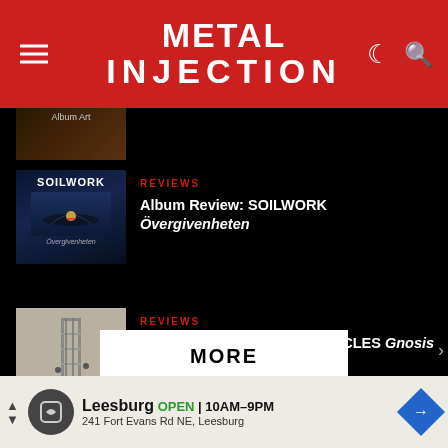Metal Injection
[Figure (screenshot): Partial album art thumbnail at top]
REVIEWS
Album Review: SOILWORK Övergivenheten
[Figure (photo): SOILWORK Övergivenheten album cover - dark blue fantasy illustration with band name]
REVIEWS
Album Review: RUSSIAN CIRCLES Gnosis
[Figure (photo): RUSSIAN CIRCLES Gnosis album cover - grey image of industrial structure with workers]
MORE
Leesburg OPEN 10AM–9PM 241 Fort Evans Rd NE, Leesburg